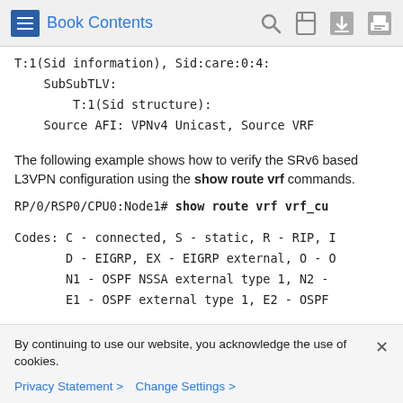Book Contents
T:1(Sid information), Sid:care:0:4:
    SubSubTLV:
        T:1(Sid structure):
    Source AFI: VPNv4 Unicast, Source VRF
The following example shows how to verify the SRv6 based L3VPN configuration using the show route vrf commands.
RP/0/RSP0/CPU0:Node1# show route vrf vrf_cu
Codes: C - connected, S - static, R - RIP, ...
       D - EIGRP, EX - EIGRP external, O - ...
       N1 - OSPF NSSA external type 1, N2 - ...
       E1 - OSPF external type 1, E2 - OSPF ...
By continuing to use our website, you acknowledge the use of cookies.
Privacy Statement > Change Settings >